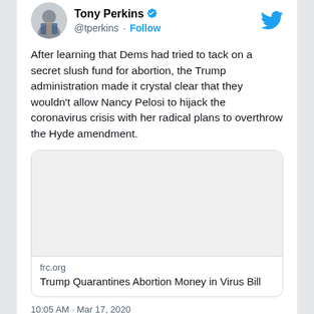[Figure (screenshot): Twitter/X screenshot of a tweet by Tony Perkins (@tperkins) with verified badge and Follow button. Tweet text reads: After learning that Dems had tried to tack on a secret slush fund for abortion, the Trump administration made it crystal clear that they wouldn't allow Nancy Pelosi to hijack the coronavirus crisis with her radical plans to overthrow the Hyde amendment. Includes a link card for frc.org titled 'Trump Quarantines Abortion Money in Virus Bill'. Timestamp partially visible at bottom.]